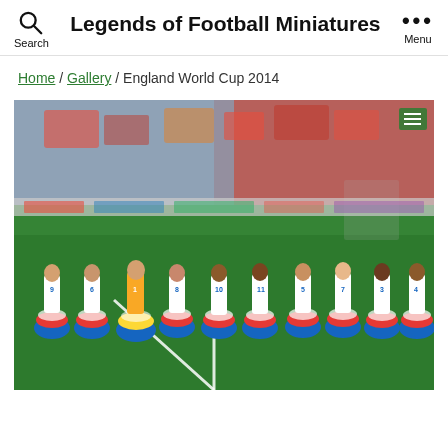Legends of Football Miniatures
Home / Gallery / England World Cup 2014
[Figure (photo): Football miniature figurines of the England World Cup 2014 squad arranged on a miniature football pitch with blurred stadium crowd background. Players in white kits with red/blue bases, one goalkeeper in yellow/orange base.]